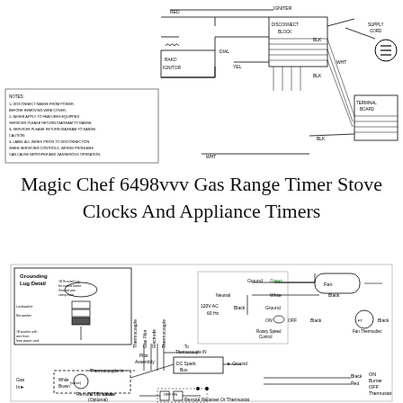[Figure (schematic): Electrical wiring diagram for a gas range showing connections between igniter, RAKO ignitor, dial, disconnect block, terminal board, supply cord, and various wiring components with color codes (RED, YEL, BLK, WHT). Includes notes about service procedures.]
Magic Chef 6498vvv Gas Range Timer Stove Clocks And Appliance Timers
[Figure (schematic): Wiring schematic showing grounding lug detail, pilot assembly with thermocouple/gas pilot/electrode connections, S.I.T. valve with thermocouple in, DC spark box with ground, 120V AC 60Hz power input with neutral/line/ground, rotary speed control, fan thermodisc, burner thermostat (ON/OFF), and remote transmitter/receiver components.]